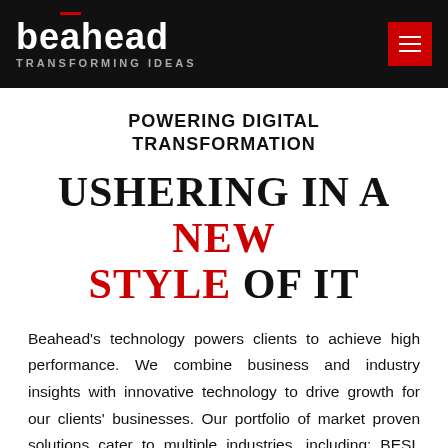beahead TRANSFORMING IDEAS
POWERING DIGITAL TRANSFORMATION
USHERING IN A NEW STYLE OF IT
Beahead's technology powers clients to achieve high performance. We combine business and industry insights with innovative technology to drive growth for our clients' businesses. Our portfolio of market proven solutions cater to multiple industries, including: BESL Consumer